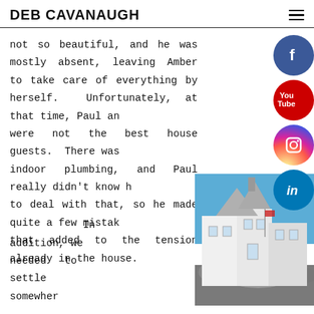DEB CAVANAUGH
not so beautiful, and he was mostly absent, leaving Amber to take care of everything by herself.  Unfortunately, at that time, Paul and were not the best house guests.  There was indoor plumbing, and Paul really didn't know how to deal with that, so he made quite a few mistakes that added to the tension already in the house.
In addition, we needed to settle somewher
[Figure (photo): Exterior photo of a white multi-story building with stone foundation and dark shingled roof against a blue sky.]